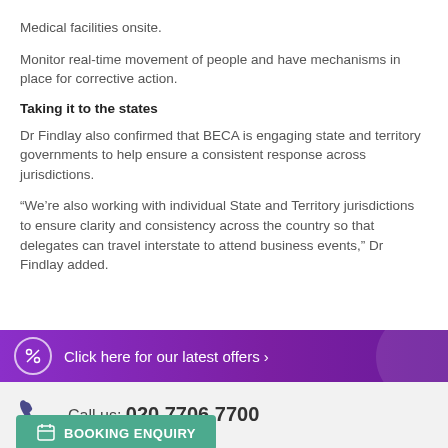Medical facilities onsite.
Monitor real-time movement of people and have mechanisms in place for corrective action.
Taking it to the states
Dr Findlay also confirmed that BECA is engaging state and territory governments to help ensure a consistent response across jurisdictions.
“We’re also working with individual State and Territory jurisdictions to ensure clarity and consistency across the country so that delegates can travel interstate to attend business events,” Dr Findlay added.
Click here for our latest offers ›
Call us: 020 7706 7700
BOOKING ENQUIRY